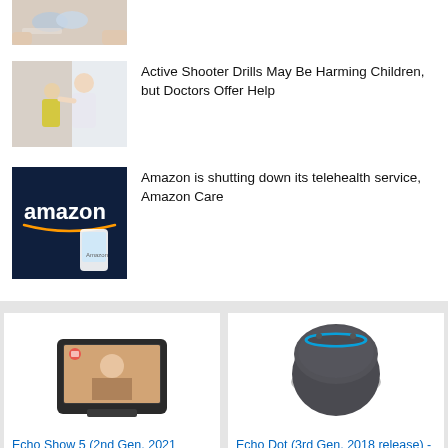[Figure (photo): Partial view of hands holding pills/medication cards, cropped at top]
[Figure (photo): Doctor or healthcare professional talking with a patient (child) in a clinical setting]
Active Shooter Drills May Be Harming Children, but Doctors Offer Help
[Figure (photo): Amazon logo on dark navy background with Amazon Care app on phone]
Amazon is shutting down its telehealth service, Amazon Care
[Figure (photo): Echo Show 5 (2nd Gen, 2021 release) smart display device]
Echo Show 5 (2nd Gen, 2021 release) | Smart
[Figure (photo): Echo Dot (3rd Gen, 2018 release) smart speaker in charcoal]
Echo Dot (3rd Gen, 2018 release) - Smart speaker